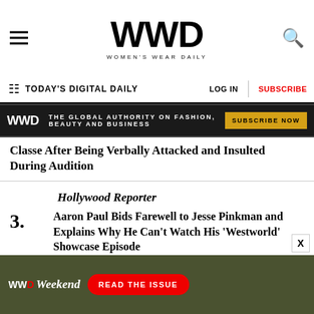WWD WOMEN'S WEAR DAILY
TODAY'S DIGITAL DAILY
[Figure (screenshot): WWD advertisement banner: THE GLOBAL AUTHORITY ON FASHION, BEAUTY AND BUSINESS — SUBSCRIBE NOW]
Classe After Being Verbally Attacked and Insulted During Audition
The Hollywood Reporter
3. Aaron Paul Bids Farewell to Jesse Pinkman and Explains Why He Can't Watch His 'Westworld' Showcase Episode
Dirt
4. Rihanna Takes Slight Loss on Modern Hollywood Hills Villa
[Figure (screenshot): WWD Weekend advertisement: READ THE ISSUE]